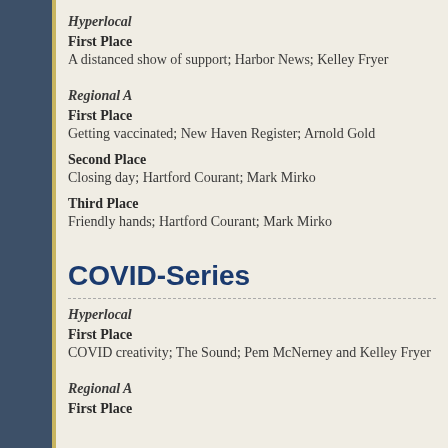Hyperlocal
First Place
A distanced show of support; Harbor News; Kelley Fryer
Regional A
First Place
Getting vaccinated; New Haven Register; Arnold Gold
Second Place
Closing day; Hartford Courant; Mark Mirko
Third Place
Friendly hands; Hartford Courant; Mark Mirko
COVID-Series
Hyperlocal
First Place
COVID creativity; The Sound; Pem McNerney and Kelley Fryer
Regional A
First Place